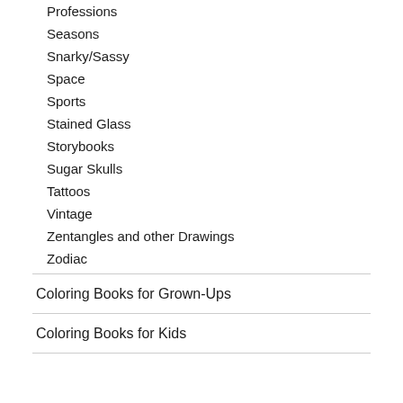Professions
Seasons
Snarky/Sassy
Space
Sports
Stained Glass
Storybooks
Sugar Skulls
Tattoos
Vintage
Zentangles and other Drawings
Zodiac
Coloring Books for Grown-Ups
Coloring Books for Kids